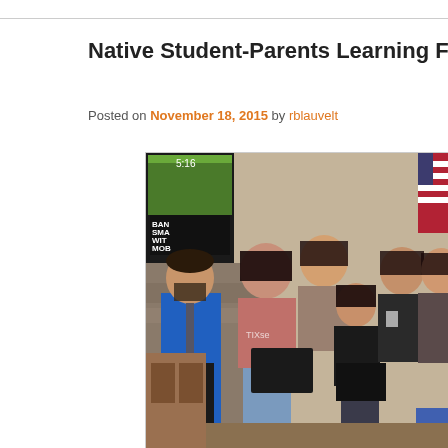Native Student-Parents Learning Financ…
Posted on November 18, 2015 by rblauvelt
[Figure (photo): Group photo of several people — a man in a blue shirt and tie on the left, and several women/girls standing together indoors. A TV screen and US flag are visible in the background.]